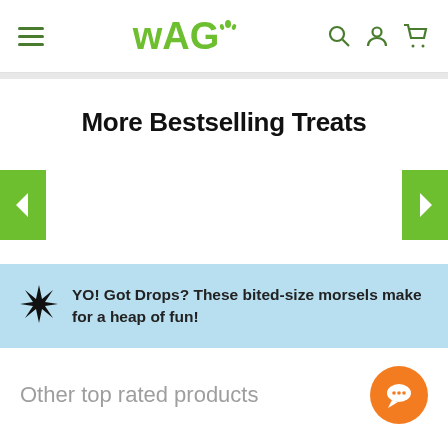WAG navigation header with hamburger menu, WAG logo, search, account, and cart icons
More Bestselling Treats
[Figure (other): Carousel section with left and right green navigation arrow buttons]
YO! Got Drops? These bited-size morsels make for a heap of fun!
Other top rated products